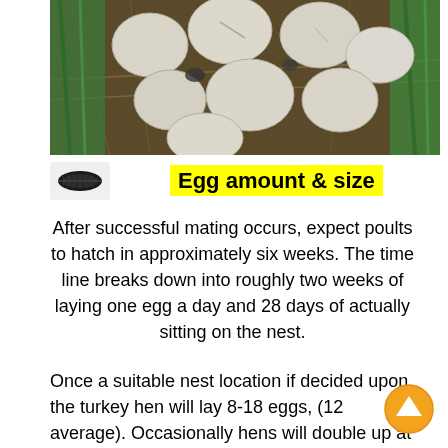[Figure (photo): Photograph of turkey eggs in a nest made of straw and dry grass, viewed from above. Several pale speckled eggs visible.]
[Figure (photo): Small thumbnail image of a dark turkey feather]
Egg amount & size
After successful mating occurs, expect poults to hatch in approximately six weeks. The time line breaks down into roughly two weeks of laying one egg a day and 28 days of actually sitting on the nest.
Once a suitable nest location if decided upon the turkey hen will lay 8-18 eggs, (12 average). Occasionally hens will double up at nests and